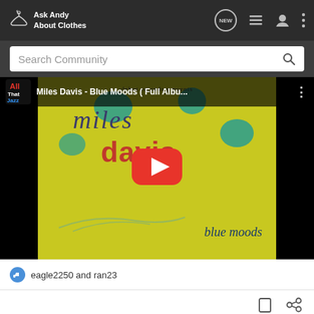Ask Andy About Clothes
Search Community
[Figure (screenshot): YouTube video thumbnail for Miles Davis - Blue Moods (Full Album). Shows album art: yellow background with teal blobs, text 'debut records presents', 'miles', 'davis', 'blue moods' in stylized fonts. Red YouTube play button overlay. Channel logo 'All That Jazz' in upper left corner.]
eagle2250 and ran23